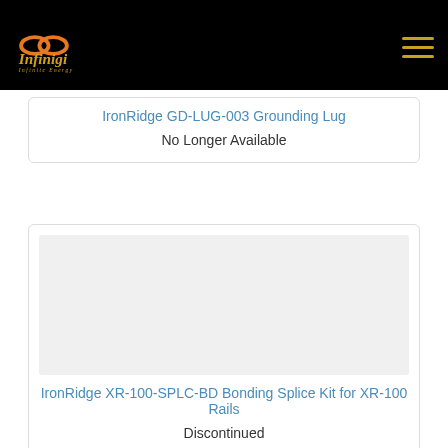Infinigi - Infinite Energy Solutions
IronRidge GD-LUG-003 Grounding Lug
No Longer Available
IronRidge XR-100-SPLC-BD Bonding Splice Kit for XR-100 Rails
Discontinued